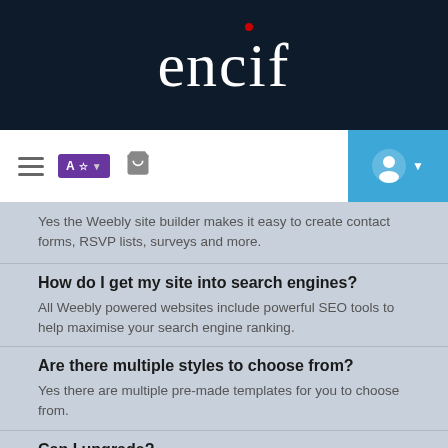encif (logo)
[Figure (screenshot): Navigation bar with hamburger menu, language/translate button, shopping cart icon, and user account icon on blue background]
Yes the Weebly site builder makes it easy to create contact forms, RSVP lists, surveys and more.
How do I get my site into search engines?
All Weebly powered websites include powerful SEO tools to help maximise your search engine ranking.
Are there multiple styles to choose from?
Yes there are multiple pre-made templates for you to choose from.
Can I upgrade?
Yes you can upgrade at any time. Simply login to your account and choose the upgrade option.